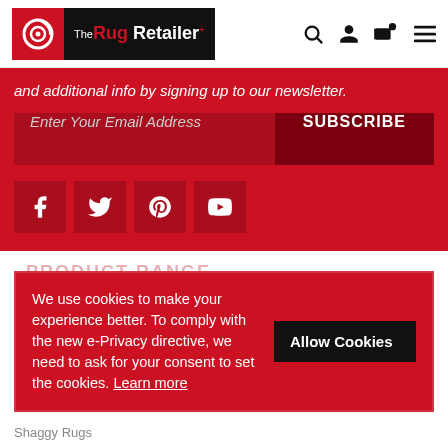[Figure (logo): The Rug Retailer logo — red icon with white spiral, black background with 'The Rug Retailer' text in white/red]
[Figure (infographic): Navigation icons: search, user/account, shopping cart, hamburger menu]
and additional info by signing up to our newsletter.
Enter Your Email Address
SUBSCRIBE
[Figure (infographic): Social media icons: Facebook, Twitter, Pinterest, YouTube]
PRODUCT RANGE
We use cookies to make your experience better. To comply with the new e-Privacy directive, we need to ask for your consent to set the cookies. Learn more
Allow Cookies
Shaggy Rugs